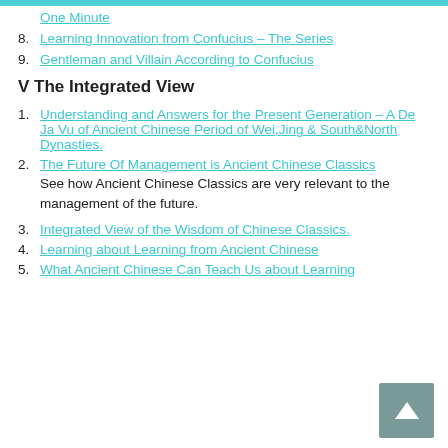One Minute
8. Learning Innovation from Confucius – The Series
9. Gentleman and Villain According to Confucius
V The Integrated View
1. Understanding and Answers for the Present Generation – A De Ja Vu of Ancient Chinese Period of Wei,Jing & South&North Dynasties.
2. The Future Of Management is Ancient Chinese Classics
See how Ancient Chinese Classics are very relevant to the management of the future.
3. Integrated View of the Wisdom of Chinese Classics.
4. Learning about Learning from Ancient Chinese
5. What Ancient Chinese Can Teach Us about Learning